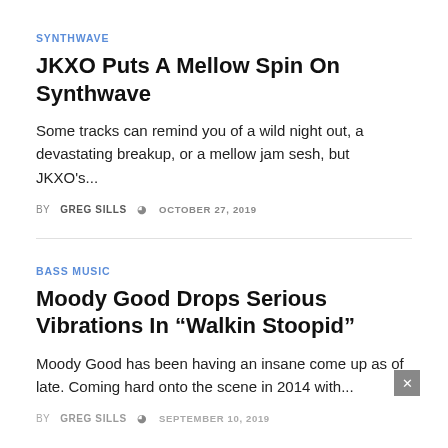SYNTHWAVE
JKXO Puts A Mellow Spin On Synthwave
Some tracks can remind you of a wild night out, a devastating breakup, or a mellow jam sesh, but JKXO's...
BY GREG SILLS  OCTOBER 27, 2019
BASS MUSIC
Moody Good Drops Serious Vibrations In “Walkin Stoopid”
Moody Good has been having an insane come up as of late. Coming hard onto the scene in 2014 with...
BY GREG SILLS  SEPTEMBER 10, 2019